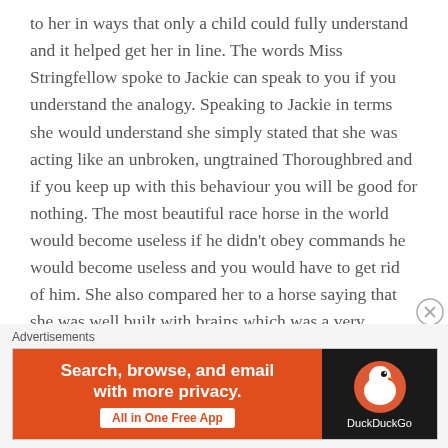to her in ways that only a child could fully understand and it helped get her in line. The words Miss Stringfellow spoke to Jackie can speak to you if you understand the analogy. Speaking to Jackie in terms she would understand she simply stated that she was acting like an unbroken, ungtrained Thoroughbred and if you keep up with this behaviour you will be good for nothing. The most beautiful race horse in the world would become useless if he didn't obey commands he would become useless and you would have to get rid of him. She also compared her to a horse saying that she was well built with brains which was a very incredibly accurate statement at that time.
Advertisements
[Figure (other): DuckDuckGo advertisement banner. Left side is orange with white bold text 'Search, browse, and email with more privacy.' and a white button 'All in One Free App'. Right side is dark/black with the DuckDuckGo duck logo and the text 'DuckDuckGo'.]